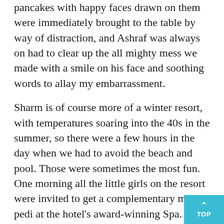pancakes with happy faces drawn on them were immediately brought to the table by way of distraction, and Ashraf was always on had to clear up the all mighty mess we made with a smile on his face and soothing words to allay my embarrassment.
Sharm is of course more of a winter resort, with temperatures soaring into the 40s in the summer, so there were a few hours in the day when we had to avoid the beach and pool. Those were sometimes the most fun. One morning all the little girls on the resort were invited to get a complementary mani-pedi at the hotel's award-winning Spa. Maya, lying back on the her leather chaise-long, Frozen-themed flip-flops hanging off her chubby little toes, asked for pink nail polish. After it had dried, she concluded that pink did not match her outfit, and instead she wanted blue nail polish. Four shades of blue were sourced and she picked the polish the most closely matched with her top. Just as we were leaving